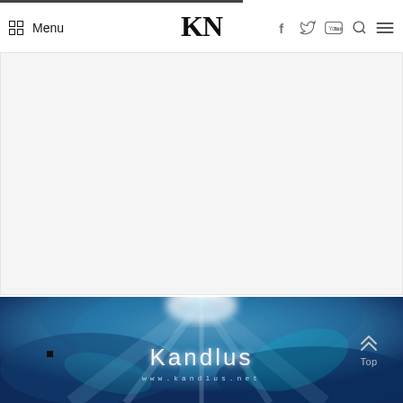Menu | KN | (social icons: facebook, twitter, youtube, search, hamburger menu)
[Figure (other): Advertisement placeholder area with light gray background]
[Figure (illustration): Kandlus website banner with blue cosmic/lightning nebula background. White glowing text reads 'Kandlus' and URL 'www.kandlus.net'. Top-right shows 'Top' button with chevron arrow. Small black square on left side.]